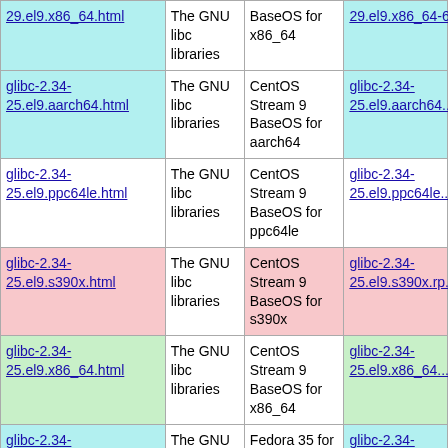| Package | Description | Repository | Link |
| --- | --- | --- | --- |
| 29.el9.x86_64.html | The GNU libc libraries | BaseOS for x86_64 | 29.el9.x86_64... |
| glibc-2.34-25.el9.aarch64.html | The GNU libc libraries | CentOS Stream 9 BaseOS for aarch64 | glibc-2.34-25.el9.aarch64... |
| glibc-2.34-25.el9.ppc64le.html | The GNU libc libraries | CentOS Stream 9 BaseOS for ppc64le | glibc-2.34-25.el9.ppc64le... |
| glibc-2.34-25.el9.s390x.html | The GNU libc libraries | CentOS Stream 9 BaseOS for s390x | glibc-2.34-25.el9.s390x.r... |
| glibc-2.34-25.el9.x86_64.html | The GNU libc libraries | CentOS Stream 9 BaseOS for x86_64 | glibc-2.34-25.el9.x86_64.... |
| glibc-2.34-7.fc35.aarch64.html | The GNU libc libraries | Fedora 35 for aarch64 | glibc-2.34-7.fc35.aarch64... |
| glibc-2.34- | The GNU | Fedora 35 for | glibc-2.34- |